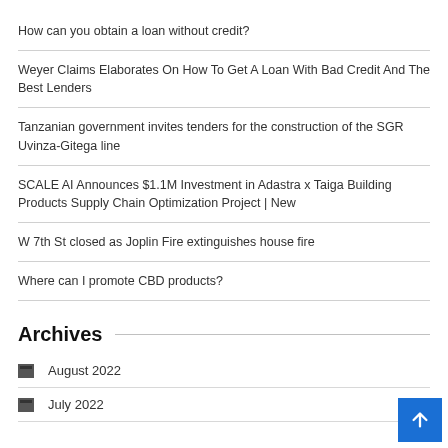How can you obtain a loan without credit?
Weyer Claims Elaborates On How To Get A Loan With Bad Credit And The Best Lenders
Tanzanian government invites tenders for the construction of the SGR Uvinza-Gitega line
SCALE AI Announces $1.1M Investment in Adastra x Taiga Building Products Supply Chain Optimization Project | New
W 7th St closed as Joplin Fire extinguishes house fire
Where can I promote CBD products?
Archives
August 2022
July 2022